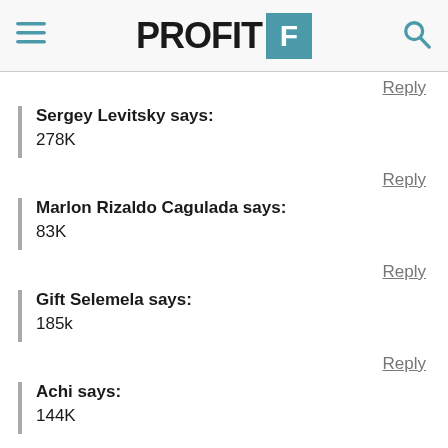PROFIT F
Reply
Sergey Levitsky says:
278K
Reply
Marlon Rizaldo Cagulada says:
83K
Reply
Gift Selemela says:
185k
Reply
Achi says:
144K
Reply
Deden says:
Open Trading Account >>